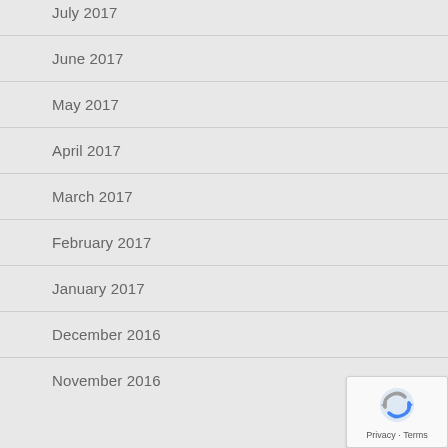July 2017
June 2017
May 2017
April 2017
March 2017
February 2017
January 2017
December 2016
November 2016